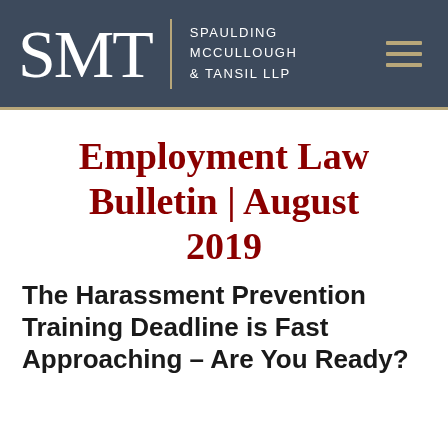SMT | Spaulding McCullough & Tansil LLP
Employment Law Bulletin | August 2019
The Harassment Prevention Training Deadline is Fast Approaching – Are You Ready?